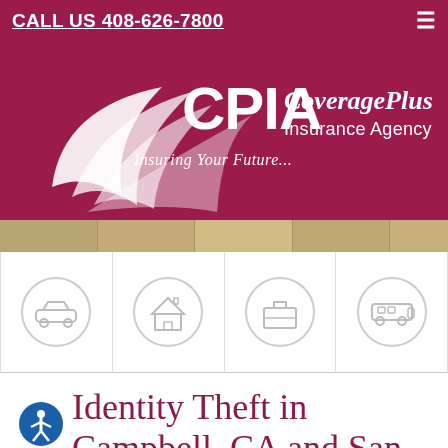CALL US 408-626-7800
[Figure (logo): CPIA CoveragePlus Insurance Agency logo with white swoosh graphic and tagline 'Insuring Your Future...' on dark red/maroon background]
[Figure (photo): Horizontal strip photo of city street buildings]
[Figure (infographic): Four icon cells: car/auto insurance, home insurance, briefcase/business insurance, RV/motorhome insurance]
Identity Theft in Campbell, CA and San Jose, CA